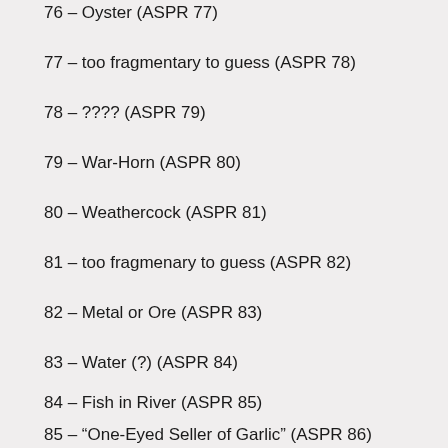76 – Oyster (ASPR 77)
77 – too fragmentary to guess (ASPR 78)
78 – ???? (ASPR 79)
79 – War-Horn (ASPR 80)
80 – Weathercock (ASPR 81)
81 – too fragmenary to guess (ASPR 82)
82 – Metal or Ore (ASPR 83)
83 – Water (?) (ASPR 84)
84 – Fish in River (ASPR 85)
85 – “One-Eyed Seller of Garlic” (ASPR 86)